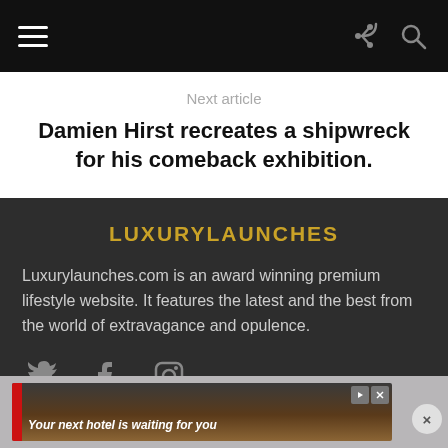Navigation bar with hamburger menu, share and search icons
Next article
Damien Hirst recreates a shipwreck for his comeback exhibition.
LUXURYLAUNCHES
Luxurylaunches.com is an award winning premium lifestyle website. It features the latest and the best from the world of extravagance and opulence.
[Figure (other): Social media icons: Twitter, Facebook, Instagram]
[Figure (other): Advertisement banner: Your next hotel is waiting for you]